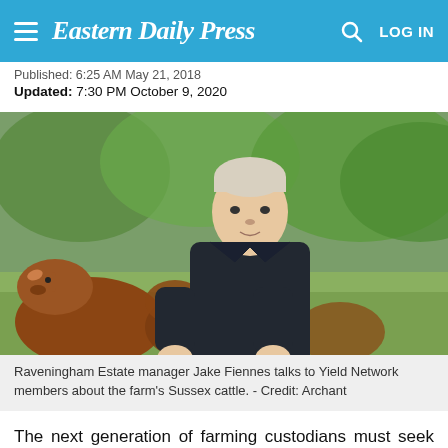Eastern Daily Press
Published: 6:25 AM May 21, 2018
Updated: 7:30 PM October 9, 2020
[Figure (photo): Raveningham Estate manager Jake Fiennes stands in a green field with brown Sussex cattle behind him, wearing a dark jacket.]
Raveningham Estate manager Jake Fiennes talks to Yield Network members about the farm's Sussex cattle. - Credit: Archant
The next generation of farming custodians must seek the sustainable 'middle ground' between intensive